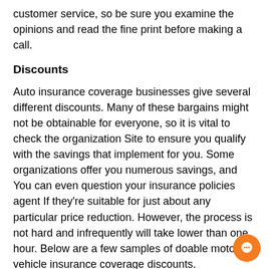customer service, so be sure you examine the opinions and read the fine print before making a call.
Discounts
Auto insurance coverage businesses give several different discounts. Many of these bargains might not be obtainable for everyone, so it is vital to check the organization Site to ensure you qualify with the savings that implement for you. Some organizations offer you numerous savings, and You can even question your insurance policies agent If they’re suitable for just about any particular price reduction. However, the process is not hard and infrequently will take lower than one hour. Below are a few samples of doable motor vehicle insurance coverage discounts.
Legacy Special discounts: An auto insurance company may well supply a reduction to new motorists who buy their policy as a result of their mother and father’ company. The discounted is mostly close to ten per cent. That is one way